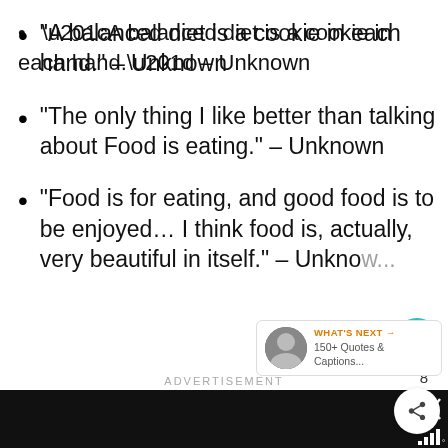“A balanced diet is a cookie in each hand.” – Unknown
“The only thing I like better than talking about Food is eating.” – Unknown
“Food is for eating, and good food is to be enjoyed… I think food is, actually, very beautiful in itself.” – Unknown
ADVERTISEMENT